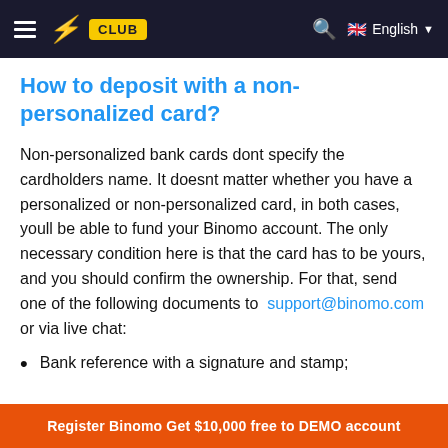≡  ⚡ CLUB   🔍  🇬🇧 English ▾
How to deposit with a non-personalized card?
Non-personalized bank cards dont specify the cardholders name. It doesnt matter whether you have a personalized or non-personalized card, in both cases, youll be able to fund your Binomo account. The only necessary condition here is that the card has to be yours, and you should confirm the ownership. For that, send one of the following documents to support@binomo.com or via live chat:
Bank reference with a signature and stamp;
Register Binomo Get $10,000 free to DEMO account